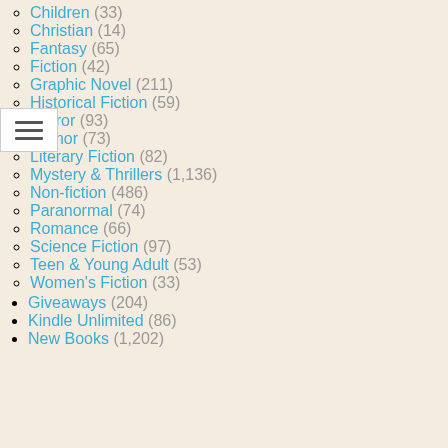Children (33)
Christian (14)
Fantasy (65)
Fiction (42)
Graphic Novel (211)
Historical Fiction (59)
Horror (93)
Humor (73)
Literary Fiction (82)
Mystery & Thrillers (1,136)
Non-fiction (486)
Paranormal (74)
Romance (66)
Science Fiction (97)
Teen & Young Adult (53)
Women's Fiction (33)
Giveaways (204)
Kindle Unlimited (86)
New Books (1,202)